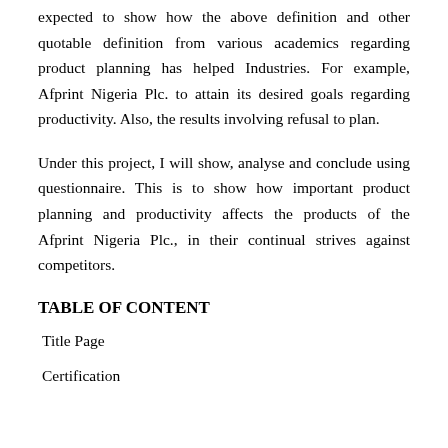expected to show how the above definition and other quotable definition from various academics regarding product planning has helped Industries. For example, Afprint Nigeria Plc. to attain its desired goals regarding productivity. Also, the results involving refusal to plan.
Under this project, I will show, analyse and conclude using questionnaire. This is to show how important product planning and productivity affects the products of the Afprint Nigeria Plc., in their continual strives against competitors.
TABLE OF CONTENT
Title Page
Certification